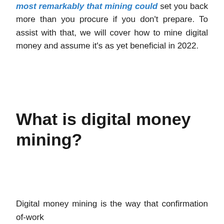most remarkably that mining could set you back more than you procure if you don't prepare. To assist with that, we will cover how to mine digital money and assume it's as yet beneficial in 2022.
What is digital money mining?
Digital money mining is the way that confirmation of-work